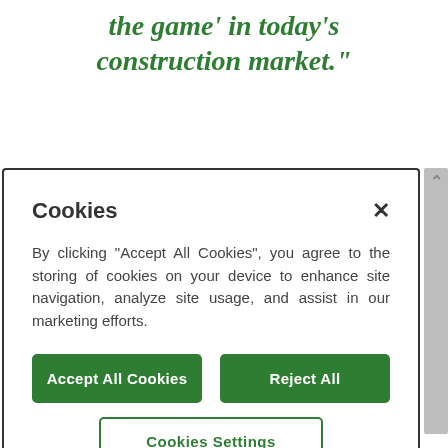the game' in today's construction market."
[Figure (screenshot): Cookie consent modal dialog with title 'Cookies', close button (×), body text, 'Accept All Cookies' and 'Reject All' green buttons, and 'Cookies Settings' outline button]